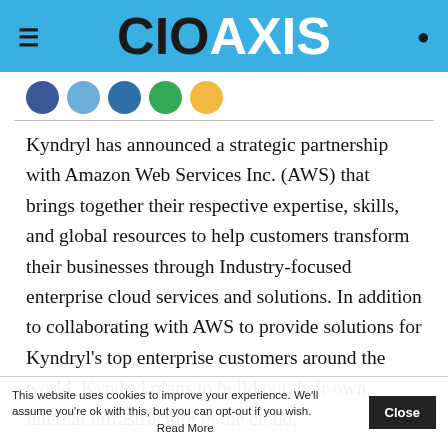CIO AXIS
[Figure (illustration): Row of social media icon circles: dark blue, medium blue, teal/dark blue, green, yellow]
Kyndryl has announced a strategic partnership with Amazon Web Services Inc. (AWS) that brings together their respective expertise, skills, and global resources to help customers transform their businesses through Industry-focused enterprise cloud services and solutions. In addition to collaborating with AWS to provide solutions for Kyndryl's top enterprise customers around the world, Kyndryl plans to build out their own internal infrastructure in the cloud, leveraging AWS as a preferred cloud provider. As
This website uses cookies to improve your experience. We'll assume you're ok with this, but you can opt-out if you wish. Read More Close